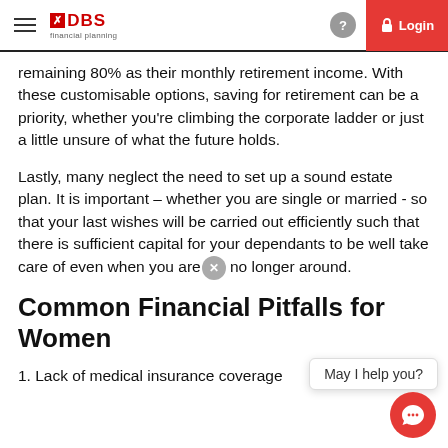DBS financial planning | Login
remaining 80% as their monthly retirement income. With these customisable options, saving for retirement can be a priority, whether you're climbing the corporate ladder or just a little unsure of what the future holds.
Lastly, many neglect the need to set up a sound estate plan. It is important – whether you are single or married - so that your last wishes will be carried out efficiently such that there is sufficient capital for your dependants to be well take care of even when you are no longer around.
Common Financial Pitfalls for Women
1. Lack of medical insurance coverage